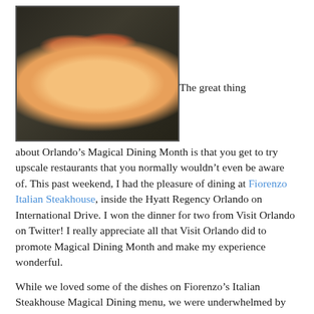[Figure (photo): Overhead shot of a white oval plate with an appetizer on a dark marble surface. The dish appears to be Calamari Fritti with reddish-orange coloring and garnish.]
The great thing about Orlando's Magical Dining Month is that you get to try upscale restaurants that you normally wouldn't even be aware of. This past weekend, I had the pleasure of dining at Fiorenzo Italian Steakhouse, inside the Hyatt Regency Orlando on International Drive. I won the dinner for two from Visit Orlando on Twitter! I really appreciate all that Visit Orlando did to promote Magical Dining Month and make my experience wonderful.
While we loved some of the dishes on Fiorenzo's Italian Steakhouse Magical Dining menu, we were underwhelmed by others. For an appetizer, we chose the Calamari Fritti, which unfortunately was oversalted and unimaginative. However, the Cinnamon & Orange-Scented Lamb Ragout with ricotta and chocolate parpadelle was so delicious, we could not stop before we went and bit. Th